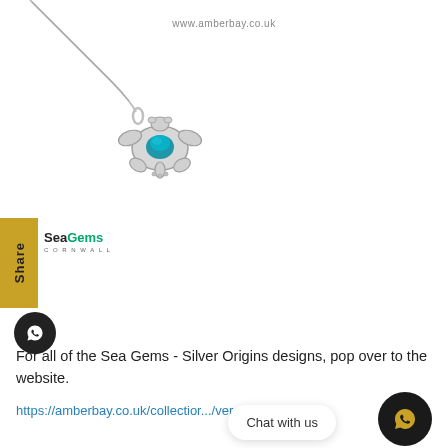www.amberbay.co.uk
[Figure (photo): Silver turtle pendant necklace with blue opal shell on a silver chain, photographed on white background. Product from Sea Gems Silver Origins range.]
[Figure (logo): Sea Gems Cornwall logo]
For all of the Sea Gems - Silver Origins designs, pop over to the website.
https://amberbay.co.uk/collection/...silver...